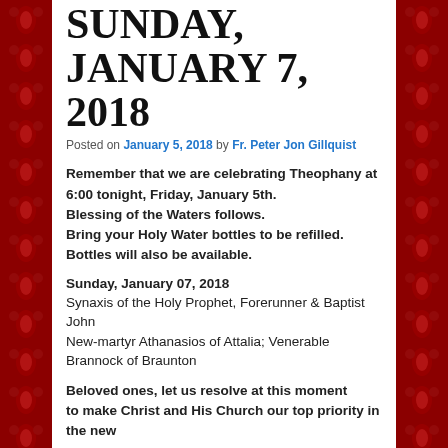SUNDAY, JANUARY 7, 2018
Posted on January 5, 2018 by Fr. Peter Jon Gillquist
Remember that we are celebrating Theophany at 6:00 tonight, Friday, January 5th.
Blessing of the Waters follows.
Bring your Holy Water bottles to be refilled.
Bottles will also be available.
Sunday, January 07, 2018
Synaxis of the Holy Prophet, Forerunner & Baptist John
New-martyr Athanasios of Attalia; Venerable Brannock of Braunton
Beloved ones, let us resolve at this moment to make Christ and His Church our top priority in the new year.
Nourishment of the Soul: *Christians – We are all created